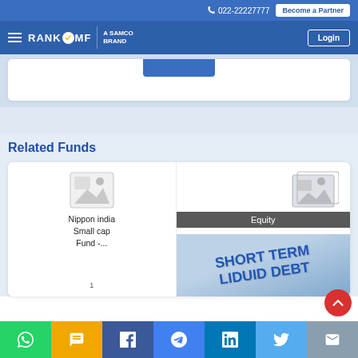022-22227777 | Become a Partner | RankMF - A Samco Brand | Login
Related Funds
[Figure (screenshot): Nippon India Small Cap Fund card with placeholder image]
[Figure (screenshot): Equity fund card showing SHORT TERM LIQUID DEBT image]
Social share icons: WhatsApp, SMS, Facebook, Messenger, LinkedIn, Twitter, Email